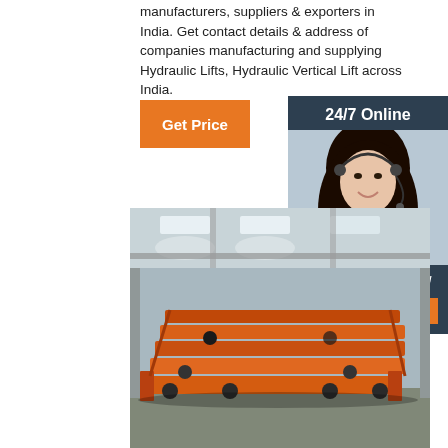manufacturers, suppliers & exporters in India. Get contact details & address of companies manufacturing and supplying Hydraulic Lifts, Hydraulic Vertical Lift across India.
[Figure (other): Orange button labeled Get Price]
[Figure (other): Dark blue sidebar panel with 24/7 Online header, photo of woman with headset smiling, text 'Click here for free chat!' and orange QUOTATION button]
[Figure (photo): Industrial warehouse interior showing stacked orange/red metal crane bridge structures or flatbed carts with wheels, stored on a factory floor under skylights]